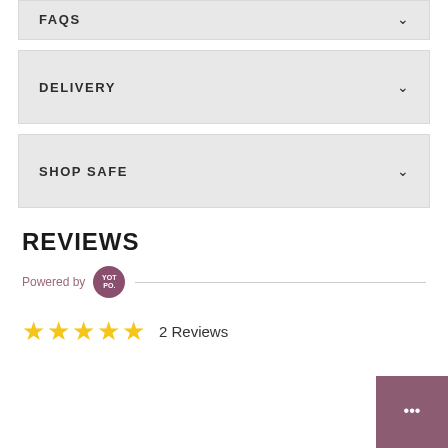FAQS
DELIVERY
SHOP SAFE
REVIEWS
Powered by YOTPO.
2 Reviews